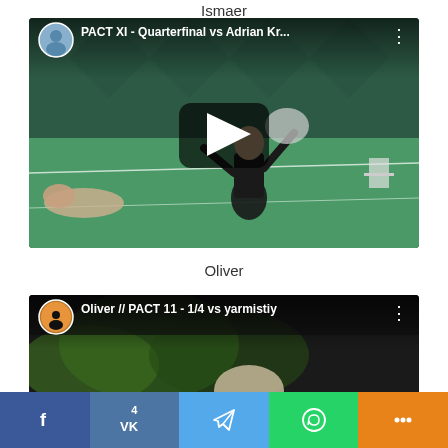Ismaer
[Figure (screenshot): YouTube video thumbnail showing a person doing freestyle football tricks on an indoor green court. Title reads 'PACT XI - Quarterfinal vs Adrian Kr...' with a play button in the center.]
Oliver
[Figure (screenshot): YouTube video thumbnail showing a person with a sunset silhouette avatar. Title reads 'Oliver // PACT 11 - 1/4 vs yarmistiy' - partially visible.]
f  4 VK  Telegram  WhatsApp  Share